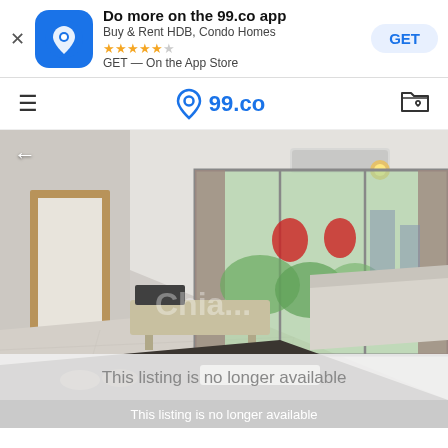[Figure (screenshot): App store banner for 99.co app with icon, title 'Do more on the 99.co app', subtitle 'Buy & Rent HDB, Condo Homes', star rating, and GET button]
99.co navigation bar with hamburger menu, 99.co logo, and folder icon
[Figure (photo): Interior photo of a condominium living room with white walls, air conditioner, large sliding glass doors with view of greenery and buildings, sofa, TV unit, and dining table in foreground. Watermark 'Chia...' visible.]
This listing is no longer available
This listing is no longer available